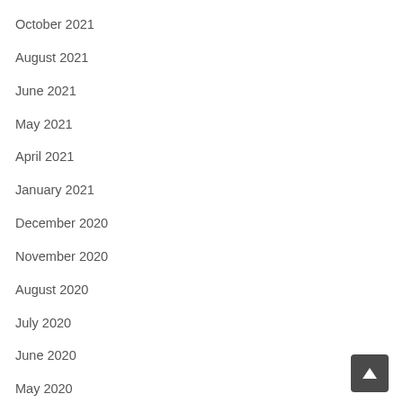October 2021
August 2021
June 2021
May 2021
April 2021
January 2021
December 2020
November 2020
August 2020
July 2020
June 2020
May 2020